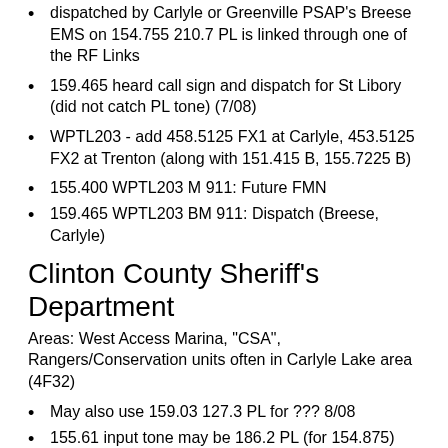dispatched by Carlyle or Greenville PSAP's Breese EMS on 154.755 210.7 PL is linked through one of the RF Links
159.465 heard call sign and dispatch for St Libory (did not catch PL tone) (7/08)
WPTL203 - add 458.5125 FX1 at Carlyle, 453.5125 FX2 at Trenton (along with 151.415 B, 155.7225 B)
155.400 WPTL203 M 911: Future FMN
159.465 WPTL203 BM 911: Dispatch (Breese, Carlyle)
Clinton County Sheriff's Department
Areas: West Access Marina, "CSA", Rangers/Conservation units often in Carlyle Lake area (4F32)
May also use 159.03 127.3 PL for ??? 8/08
155.61 input tone may be 186.2 PL (for 154.875) (often heard in area, though sounds like repeater)